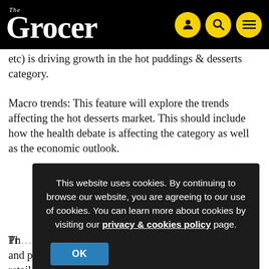The Grocer
etc) is driving growth in the hot puddings & desserts category.
Macro trends: This feature will explore the trends affecting the hot desserts market. This should include how the health debate is affecting the category as well as the economic outlook.
Th[...] e ra[...] d in[...] g th[...]
This website uses cookies. By continuing to browse our website, you are agreeing to our use of cookies. You can learn more about cookies by visiting our privacy & cookies policy page.
Pr[...] e and promotions are playing in this market. Which retailers and brands have seen the most significant changes in price?